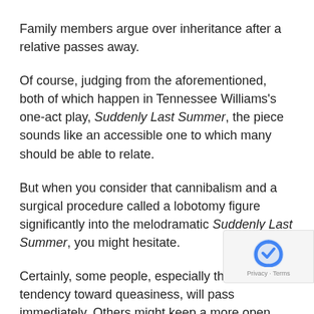Family members argue over inheritance after a relative passes away.
Of course, judging from the aforementioned, both of which happen in Tennessee Williams's one-act play, Suddenly Last Summer, the piece sounds like an accessible one to which many should be able to relate.
But when you consider that cannibalism and a surgical procedure called a lobotomy figure significantly into the melodramatic Suddenly Last Summer, you might hesitate.
Certainly, some people, especially those with a tendency toward queasiness, will pass immediately. Others might keep a more open mind.
Whichever group you fall into, South Florida theater fans have a